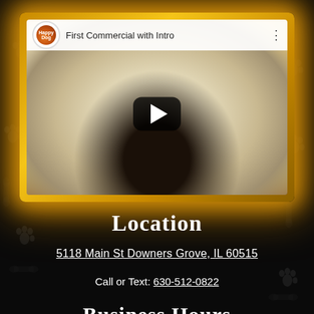[Figure (screenshot): YouTube video thumbnail showing a white fluffy dog with the title 'First Commercial with Intro' and a play button overlay, with a golden/amber glowing border]
Location
5118 Main St Downers Grove, IL 60515
Call or Text: 630-512-0822
Business Hours